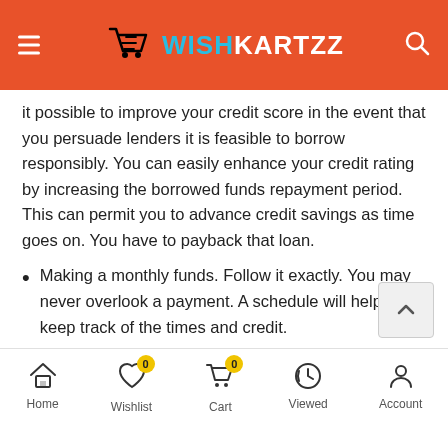WISHKARTZZ
it possible to improve your credit score in the event that you persuade lenders it is feasible to borrow responsibly. You can easily enhance your credit rating by increasing the borrowed funds repayment period. This can permit you to advance credit savings as time goes on. You have to payback that loan.
Making a monthly funds. Follow it exactly. You may never overlook a payment. A schedule will help you keep track of the times and credit.
You'll speak to your lender if you should be unable to pay a payment per month. Both sides can go over their particular alternatives and attain an agreement.
When you pay the loan, never enhance your
Home   Wishlist   Cart   Viewed   Account